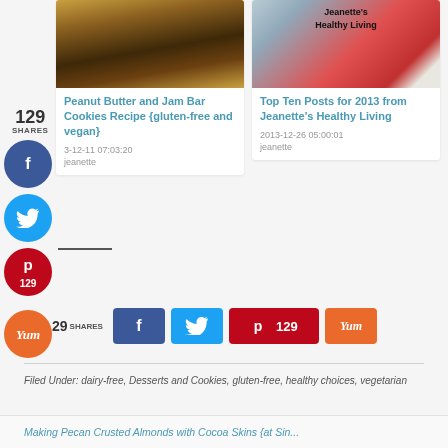[Figure (photo): Card with photo of peanut butter and jam bar cookies (oat/granola bar with dark jam filling on white plate)]
Peanut Butter and Jam Bar Cookies Recipe {gluten-free and vegan}
3-12-11 07:03:20
jeanette
[Figure (photo): Card with collage photo: Jeanette's Healthy Living blog header with food images (green smoothie, stew/tomato dish, rice bowl)]
Top Ten Posts for 2013 from Jeanette's Healthy Living
2013-12-26 05:00:01
jeanette
129
SHARES
[Figure (infographic): Social share sidebar with Facebook (blue circle), Twitter (light blue circle), Pinterest (red circle, 129), Yum (orange circle) buttons]
[Figure (infographic): Bottom share bar: 29 SHARES, Facebook button, Twitter button, Pinterest 129 button, Yum button]
Filed Under: dairy-free, Desserts and Cookies, gluten-free, healthy choices, vegetarian
Making Pecan Crusted Almonds with Cocoa Skins {at Sin...